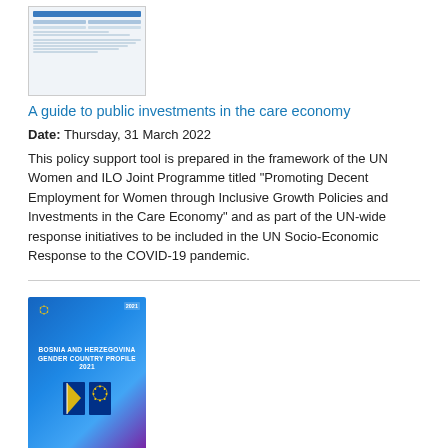[Figure (illustration): Thumbnail image of a document - a guide to public investments in the care economy]
A guide to public investments in the care economy
Date: Thursday, 31 March 2022
This policy support tool is prepared in the framework of the UN Women and ILO Joint Programme titled "Promoting Decent Employment for Women through Inclusive Growth Policies and Investments in the Care Economy" and as part of the UN-wide response initiatives to be included in the UN Socio-Economic Response to the COVID-19 pandemic.
[Figure (illustration): Thumbnail image of the EU Gender Country Profile for Bosnia and Herzegovina 2021 book cover with EU and BiH flags]
EU Gender Country Profile for Bosnia and Herzegovina 2021
Date: Monday, 28 March 2022